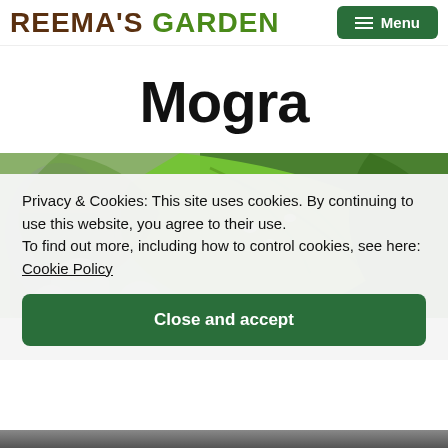REEMA'S GARDEN — Menu
Mogra
[Figure (photo): Close-up photograph of green plant leaves with water droplets, appearing to be a Mogra (Jasmine) plant]
Privacy & Cookies: This site uses cookies. By continuing to use this website, you agree to their use.
To find out more, including how to control cookies, see here: Cookie Policy
Close and accept